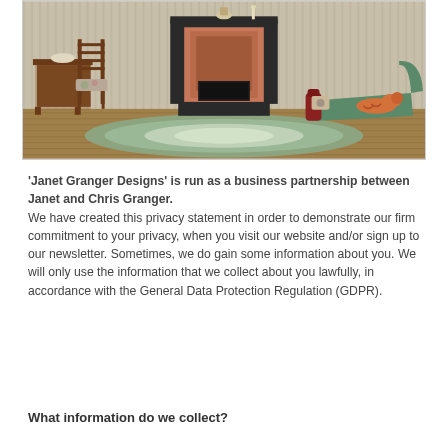[Figure (photo): A dollhouse-style room interior featuring a Victorian/traditional setting with a wooden ladder-back chair, floral upholstered armchair, a fireplace with ornate black surround, a red chaise lounge with a stuffed orange cat on it, green walls with stripe wallpaper, and a floral area rug on a wooden floor.]
'Janet Granger Designs' is run as a business partnership between Janet and Chris Granger. We have created this privacy statement in order to demonstrate our firm commitment to your privacy, when you visit our website and/or sign up to our newsletter. Sometimes, we do gain some information about you. We will only use the information that we collect about you lawfully, in accordance with the General Data Protection Regulation (GDPR).
What information do we collect?